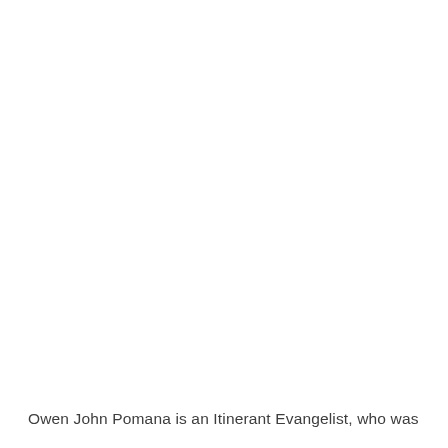Owen John Pomana is an Itinerant Evangelist, who was